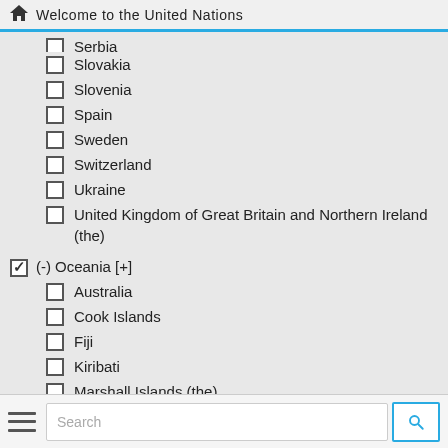Welcome to the United Nations
Serbia
Slovakia
Slovenia
Spain
Sweden
Switzerland
Ukraine
United Kingdom of Great Britain and Northern Ireland (the)
(-) Oceania [+]
Australia
Cook Islands
Fiji
Kiribati
Marshall Islands (the)
Micronesia (Federated States of)